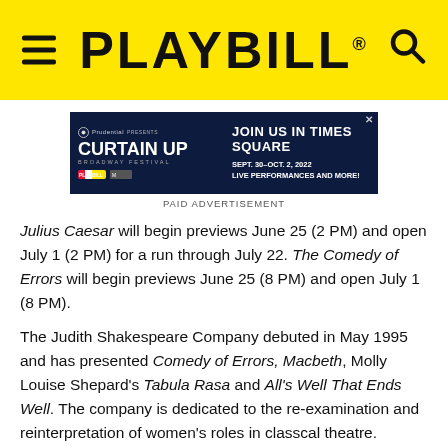PLAYBILL
[Figure (other): Prudential presents Curtain Up Broadway Festival advertisement - JOIN US IN TIMES SQUARE SEPT. 30-OCT. 2, 2022 LIVE PERFORMANCES AND MORE!]
PAID ADVERTISEMENT
Julius Caesar will begin previews June 25 (2 PM) and open July 1 (2 PM) for a run through July 22. The Comedy of Errors will begin previews June 25 (8 PM) and open July 1 (8 PM).
The Judith Shakespeare Company debuted in May 1995 and has presented Comedy of Errors, Macbeth, Molly Louise Shepard's Tabula Rasa and All's Well That Ends Well. The company is dedicated to the re-examination and reinterpretation of women's roles in classcal theatre. Tickets are $15. The Mint Space Is located at 311 West 43rd Street. For information, call the box office at (212)